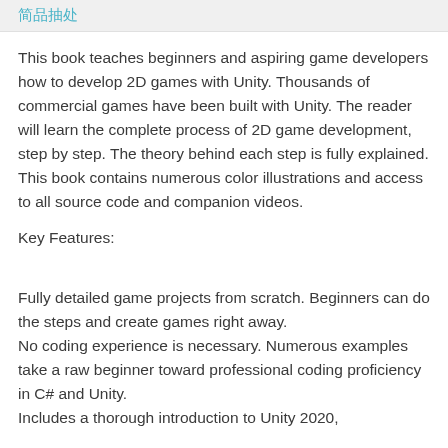简品抽处
This book teaches beginners and aspiring game developers how to develop 2D games with Unity. Thousands of commercial games have been built with Unity. The reader will learn the complete process of 2D game development, step by step. The theory behind each step is fully explained. This book contains numerous color illustrations and access to all source code and companion videos.
Key Features:
Fully detailed game projects from scratch. Beginners can do the steps and create games right away.
No coding experience is necessary. Numerous examples take a raw beginner toward professional coding proficiency in C# and Unity.
Includes a thorough introduction to Unity 2020,